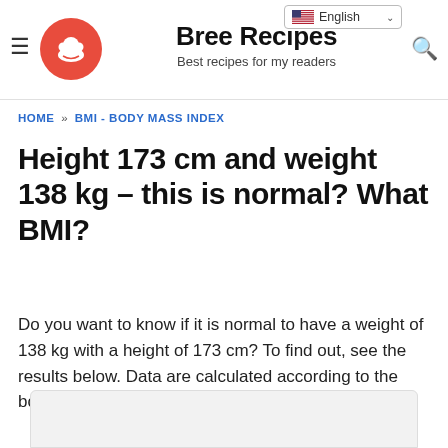Bree Recipes — Best recipes for my readers
HOME » BMI - BODY MASS INDEX
Height 173 cm and weight 138 kg – this is normal? What BMI?
Do you want to know if it is normal to have a weight of 138 kg with a height of 173 cm? To find out, see the results below. Data are calculated according to the body mass index formula.
[Figure (other): Partial view of an image at the bottom of the page, cut off]